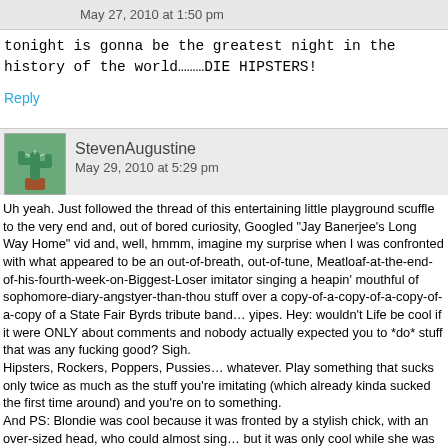May 27, 2010 at 1:50 pm
tonight is gonna be the greatest night in the history of the world………DIE HIPSTERS!
Reply
StevenAugustine
May 29, 2010 at 5:29 pm
Uh yeah. Just followed the thread of this entertaining little playground scuffle to the very end and, out of bored curiosity, Googled "Jay Banerjee's Long Way Home" vid and, well, hmmm, imagine my surprise when I was confronted with what appeared to be an out-of-breath, out-of-tune, Meatloaf-at-the-end-of-his-fourth-week-on-Biggest-Loser imitator singing a heapin' mouthful of sophomore-diary-angstyer-than-thou stuff over a copy-of-a-copy-of-a-copy-of-a-copy of a State Fair Byrds tribute band… yipes. Hey: wouldn't Life be cool if it were ONLY about comments and nobody actually expected you to *do* stuff that was any fucking good? Sigh.
Hipsters, Rockers, Poppers, Pussies… whatever. Play something that sucks only twice as much as the stuff you're imitating (which already kinda sucked the first time around) and you're on to something.
And PS: Blondie was cool because it was fronted by a stylish chick, with an over-sized head, who could almost sing… but it was only cool while she was very, very hot; it is now a sad thing to look at; sadder even than Gary Coleman's tiny casket. Those old songs sound like demo to you now…